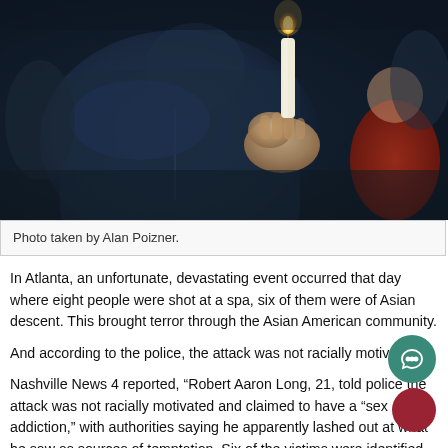[Figure (photo): A person in a dark blue jacket holding a lit candle at what appears to be a candlelight vigil. A child is visible in the background on the right wearing a red jacket. The image is dark and atmospheric.]
Photo taken by Alan Poizner.
In Atlanta, an unfortunate, devastating event occurred that day where eight people were shot at a spa, six of them were of Asian descent. This brought terror through the Asian American community.
And according to the police, the attack was not racially motivated.
Nashville News 4 reported, “Robert Aaron Long, 21, told police the attack was not racially motivated and claimed to have a “sex addiction,” with authorities saying he apparently lashed out at what he saw as sources of temptation. Six of the victims were identified as